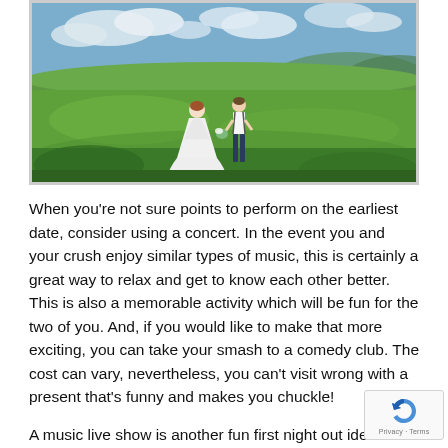[Figure (photo): A bride in a white dress and groom in white shirt with suspenders walking through a lush green meadow/field, viewed from behind, with hills and cloudy sky in the background.]
When you're not sure points to perform on the earliest date, consider using a concert. In the event you and your crush enjoy similar types of music, this is certainly a great way to relax and get to know each other better. This is also a memorable activity which will be fun for the two of you. And, if you would like to make that more exciting, you can take your smash to a comedy club. The cost can vary, nevertheless, you can't visit wrong with a present that's funny and makes you chuckle!
A music live show is another fun first night out idea. Experiencing the same type of music or if you partner will help